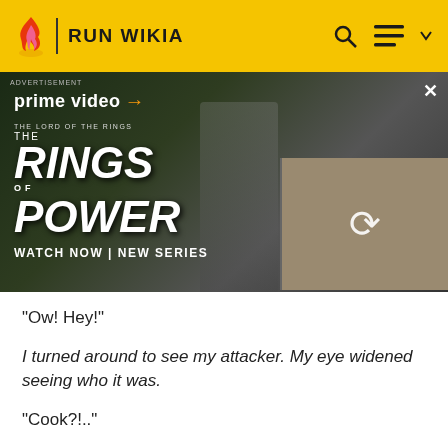RUN WIKIA
[Figure (photo): Advertisement banner for Amazon Prime Video's 'The Lord of the Rings: The Rings of Power' showing a hooded figure and a group of people. Text reads: prime video, THE LORD OF THE RINGS THE RINGS OF POWER, WATCH NOW | NEW SERIES]
"Ow! Hey!"
I turned around to see my attacker. My eye widened seeing who it was.
"Cook?!.."
No..it wasn't him..his eye was blank and dull,which is odd because he usually wears his eyepatch. He didn't show any sort of emotion as he pushed me